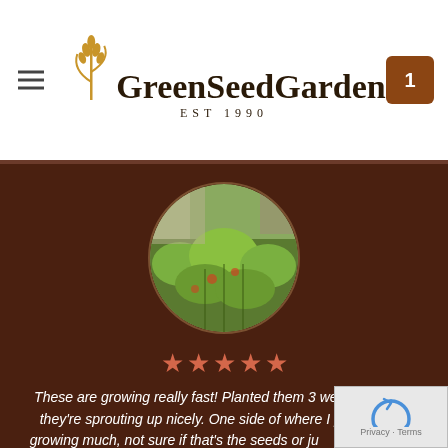GreenSeedGarden EST 1990
[Figure (photo): Circular cropped photo of a lush green garden with tomato plants growing]
★★★★★
These are growing really fast! Planted them 3 weeks ago and they're sprouting up nicely. One side of where I planted isn't growing much, not sure if that's the seeds or just that particular spot doesn't get as much sun/rain. I'm excited to see these grow